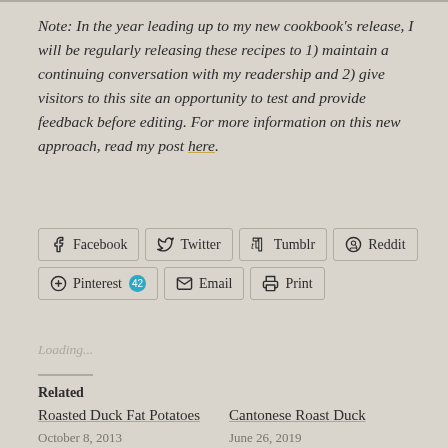Note: In the year leading up to my new cookbook's release, I will be regularly releasing these recipes to 1) maintain a continuing conversation with my readership and 2) give visitors to this site an opportunity to test and provide feedback before editing. For more information on this new approach, read my post here.
[Figure (infographic): Social share buttons: Facebook, Twitter, Tumblr, Reddit, Pinterest (42), Email, Print]
Loading...
Related
Roasted Duck Fat Potatoes
October 8, 2013
Cantonese Roast Duck
June 26, 2019